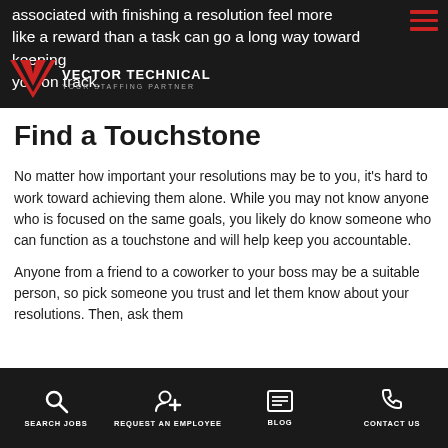Vector Technical — Your Staffing Partner
associated with finishing a resolution feel more like a reward than a task can go a long way toward keeping you on track.
Find a Touchstone
No matter how important your resolutions may be to you, it's hard to work toward achieving them alone. While you may not know anyone who is focused on the same goals, you likely do know someone who can function as a touchstone and will help keep you accountable.
Anyone from a friend to a coworker to your boss may be a suitable person, so pick someone you trust and let them know about your resolutions. Then, ask them
SEARCH JOBS   REQUEST AN EMPLOYEE   BLOG   CONTACT US